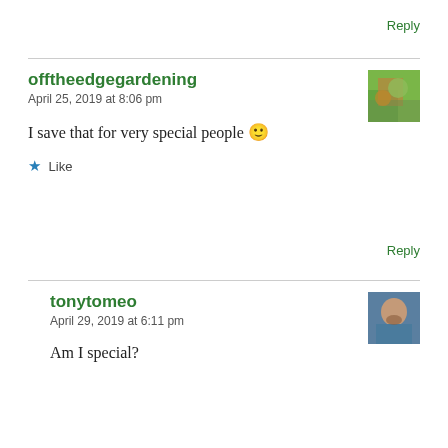Reply
offtheedgegardening
April 25, 2019 at 8:06 pm
I save that for very special people 🙂
★ Like
Reply
tonytomeo
April 29, 2019 at 6:11 pm
Am I special?